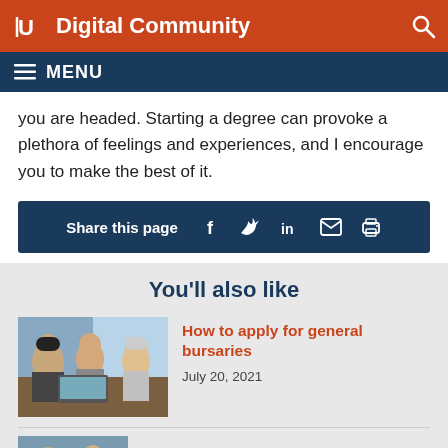Digital Community
you are headed. Starting a degree can provoke a plethora of feelings and experiences, and I encourage you to make the best of it.
Share this page
You'll also like
[Figure (photo): Students sitting at a table with laptops, discussing in a group setting]
How to apply for general bursaries
July 20, 2021